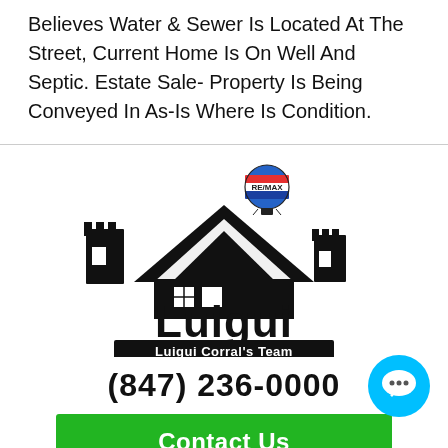Believes Water & Sewer Is Located At The Street, Current Home Is On Well And Septic. Estate Sale- Property Is Being Conveyed In As-Is Where Is Condition.
[Figure (logo): Luigui Corral's Team RE/MAX American Dream logo featuring a castle and house silhouette with a hot air balloon]
(847) 236-0000
Contact Us